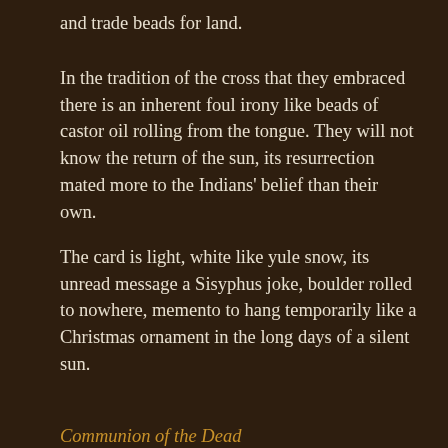and trade beads for land.
In the tradition of the cross that they embraced there is an inherent foul irony like beads of castor oil rolling from the tongue. They will not know the return of the sun, its resurrection mated more to the Indians' belief than their own.
The card is light, white like yule snow, its unread message a Sisyphus joke, boulder rolled to nowhere, memento to hang temporarily like a Christmas ornament in the long days of a silent sun.
Communion of the Dead
The world is November white this morning. On top of Jellico Mountain driving a F-150